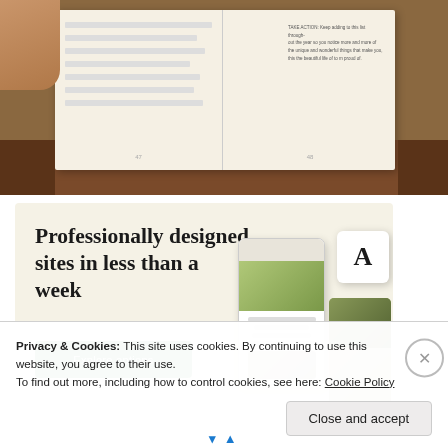[Figure (photo): Photo of an open book/journal with lined pages lying on a wooden table, with a hand visible at top left corner. The right page has small text.]
[Figure (infographic): Advertisement banner with cream/beige background reading 'Professionally designed sites in less than a week' with a green 'Explore options' button and mockup screenshots of websites including a food site.]
Privacy & Cookies: This site uses cookies. By continuing to use this website, you agree to their use.
To find out more, including how to control cookies, see here: Cookie Policy
Close and accept